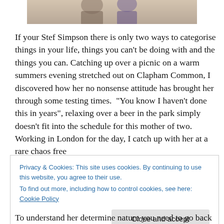[Figure (photo): Cropped bottom portion of a photo showing two people, partially visible at the top of the page]
If your Stef Simpson there is only two ways to categorise things in your life, things you can't be doing with and the things you can. Catching up over a picnic on a warm summers evening stretched out on Clapham Common, I discovered how her no nonsense attitude has brought her through some testing times.  "You know I haven't done this in years", relaxing over a beer in the park simply doesn't fit into the schedule for this mother of two. Working in London for the day, I catch up with her at a rare chaos free
Privacy & Cookies: This site uses cookies. By continuing to use this website, you agree to their use.
To find out more, including how to control cookies, see here: Cookie Policy
To understand her determine nature you need to go back